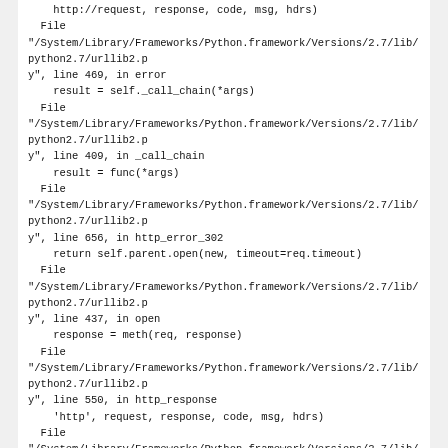http://request, response, code, msg, hdrs)
File
"/System/Library/Frameworks/Python.framework/Versions/2.7/lib/python2.7/urllib2.py", line 469, in error
    result = self._call_chain(*args)
File
"/System/Library/Frameworks/Python.framework/Versions/2.7/lib/python2.7/urllib2.py", line 409, in _call_chain
    result = func(*args)
File
"/System/Library/Frameworks/Python.framework/Versions/2.7/lib/python2.7/urllib2.py", line 656, in http_error_302
    return self.parent.open(new, timeout=req.timeout)
File
"/System/Library/Frameworks/Python.framework/Versions/2.7/lib/python2.7/urllib2.py", line 437, in open
    response = meth(req, response)
File
"/System/Library/Frameworks/Python.framework/Versions/2.7/lib/python2.7/urllib2.py", line 550, in http_response
    'http', request, response, code, msg, hdrs)
File
"/System/Library/Frameworks/Python.framework/Versions/2.7/lib/python2.7/urllib2.py", line 469, in error
    result = self._call_chain(*args)
File